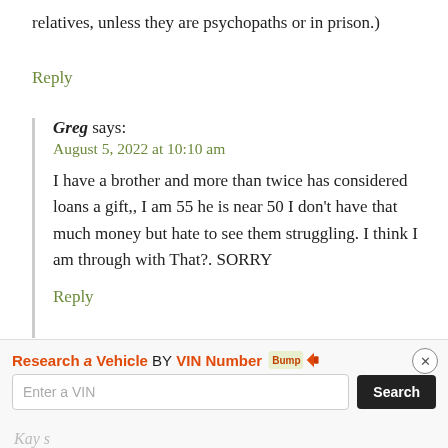relatives, unless they are psychopaths or in prison.)
Reply
Greg says:
August 5, 2022 at 10:10 am
I have a brother and more than twice has considered loans a gift,, I am 55 he is near 50 I don't have that much money but hate to see them struggling. I think I am through with That?. SORRY
Reply
[Figure (screenshot): Advertisement bar: 'Research a Vehicle BY VIN Number' with Bump logo, VIN input field, and Search button]
Kay s